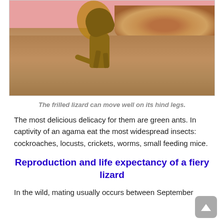[Figure (photo): A frilled lizard running on its hind legs on a sandy/dirt ground, with a pink wall in the background and dried leaves scattered around.]
The frilled lizard can move well on its hind legs.
The most delicious delicacy for them are green ants. In captivity of an agama eat the most widespread insects: cockroaches, locusts, crickets, worms, small feeding mice.
Reproduction and life expectancy of a fiery lizard
In the wild, mating usually occurs between September